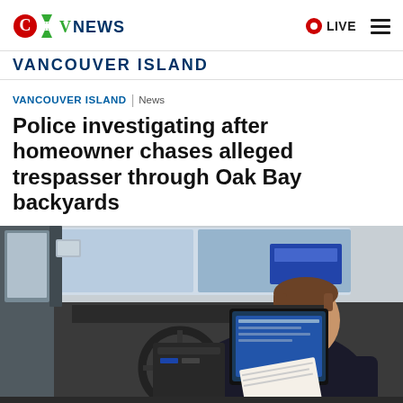CTV News — VANCOUVER ISLAND | LIVE
VANCOUVER ISLAND
VANCOUVER ISLAND | News
Police investigating after homeowner chases alleged trespasser through Oak Bay backyards
[Figure (photo): A police officer sitting in a police car, viewed from the back seat, working on a tablet mounted on the dashboard.]